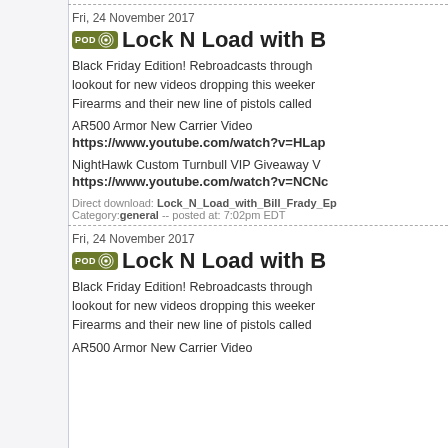Fri, 24 November 2017
Lock N Load with B...
Black Friday Edition! Rebroadcasts through... lookout for new videos dropping this weekend... Firearms and their new line of pistols called...
AR500 Armor New Carrier Video
https://www.youtube.com/watch?v=HLap...
NightHawk Custom Turnbull VIP Giveaway V...
https://www.youtube.com/watch?v=NCNc...
Direct download: Lock_N_Load_with_Bill_Frady_Ep... Category:general -- posted at: 7:02pm EDT
Fri, 24 November 2017
Lock N Load with B...
Black Friday Edition! Rebroadcasts through... lookout for new videos dropping this weekend... Firearms and their new line of pistols called...
AR500 Armor New Carrier Video